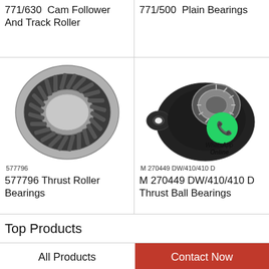771/630  Cam Follower And Track Roller
771/500  Plain Bearings
[Figure (photo): Needle roller bearing / cam follower cylindrical ring-shaped bearing with visible rollers, part number 577796]
[Figure (photo): Black flanged plain bearing / thrust ball bearing M 270449 DW/410/410 D with WhatsApp Online watermark overlay]
577796
M 270449 DW/410/410 D
577796 Thrust Roller Bearings
M 270449 DW/410/410 D Thrust Ball Bearings
Top Products
All Products
Contact Now